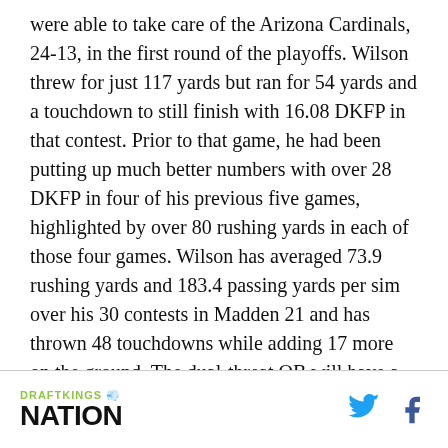were able to take care of the Arizona Cardinals, 24-13, in the first round of the playoffs. Wilson threw for just 117 yards but ran for 54 yards and a touchdown to still finish with 16.08 DKFP in that contest. Prior to that game, he had been putting up much better numbers with over 28 DKFP in four of his previous five games, highlighted by over 80 rushing yards in each of those four games. Wilson has averaged 73.9 rushing yards and 183.4 passing yards per sim over his 30 contests in Madden 21 and has thrown 48 touchdowns while adding 17 more on the ground. The dual-threat QB will have a good matchup against the Bucs, who have been prone to giving up big plays in Madden 21. Especially with the rain of wild weather
DRAFTKINGS NATION